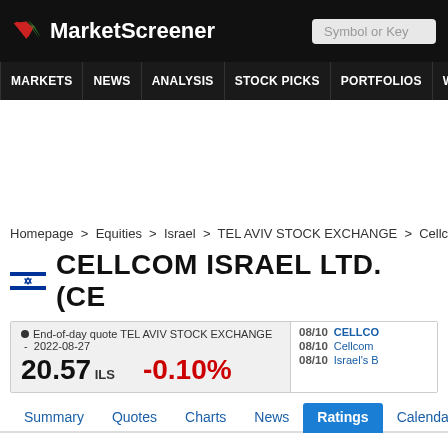MarketScreener
MARKETS NEWS ANALYSIS STOCK PICKS PORTFOLIOS WATCHLI
Homepage > Equities > Israel > TEL AVIV STOCK EXCHANGE > Cellcom Israel Lt
CELLCOM ISRAEL LTD. (CE
End-of-day quote TEL AVIV STOCK EXCHANGE - 2022-08-27
20.57 ILS  -0.10%
08/10 CELLCO
08/10 Cellcom
08/10 Israel's B
Summary  Quotes  Charts  News  Ratings  Calendar  Company